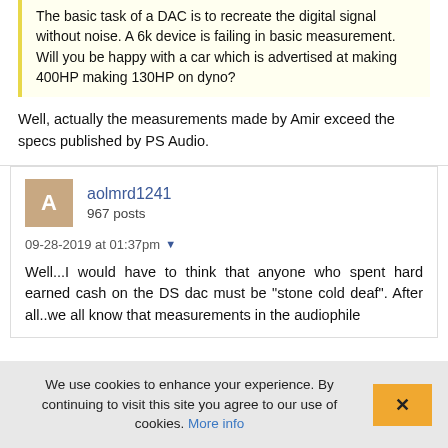The basic task of a DAC is to recreate the digital signal without noise. A 6k device is failing in basic measurement. Will you be happy with a car which is advertised at making 400HP making 130HP on dyno?
Well, actually the measurements made by Amir exceed the specs published by PS Audio.
aolmrd1241
967 posts
09-28-2019 at 01:37pm
Well...I would have to think that anyone who spent hard earned cash on the DS dac must be "stone cold deaf". After all..we all know that measurements in the audiophile
We use cookies to enhance your experience. By continuing to visit this site you agree to our use of cookies. More info